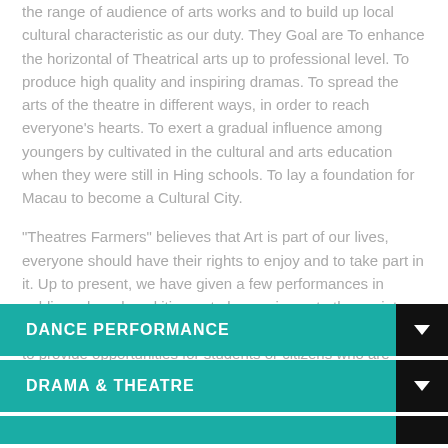the range of audience of arts works and to build up local cultural characteristic as our duty. They Goal are To enhance the horizontal of Theatrical arts up to professional level. To produce high quality and inspiring dramas. To spread the arts of the theatre in different ways, in order to reach everyone's hearts. To exert a gradual influence among youngers by cultivated in the cultural and arts education when they were still in Hing schools. To lay a foundation for Macau to become a Cultural City.
“Theatres Farmers” believes that Art is part of our lives, everyone should have their rights to enjoy and to take part in it. Up to present, we have given a few performances in public and produced itinerant plays, primary to the society and schools, in order to spread the seeds of arts widely, and to provide opportunities for students or citizens who are unfamiliar with arts, could enjoy the true, the good and the beautiful of it.
DANCE PERFORMANCE
DRAMA & THEATRE